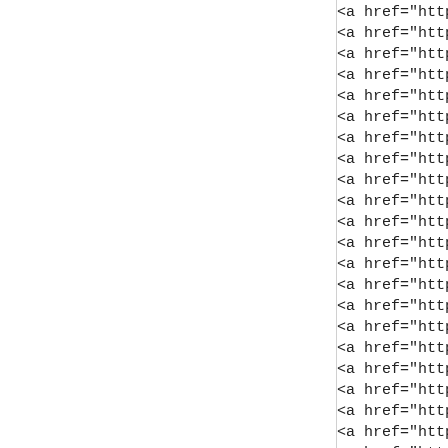<a href="https://www.par...
<a href="https://www.nik...
<a href="https://www.air-...
<a href="https://www.red...
<a href="https://www.yee...
<a href="https://www.nik...
<a href="https://www.airj...
<a href="https://www.nik...
<a href="https://www.adi...
<a href="https://www.fjal...
<a href="https://www.nik...
<a href="https://www.adi...
<a href="https://www.nev...
<a href="https://www.nik...
<a href="https://www.nik...
<a href="https://www.fer...
<a href="https://www.airj...
<a href="https://www.nik...
<a href="https://www.me...
<a href="https://www.nik...
<a href="https://www.nik...
<a href="https://www.nik...
<a href="https://www.nik...
<a href="https://www.nik...
<a href="https://www.chr...